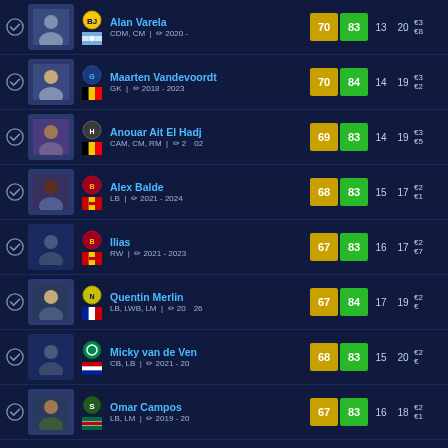|  | Photo | Club/Flag | Name/Position | Rating | Potential | Age | Stat | Price |
| --- | --- | --- | --- | --- | --- | --- | --- | --- |
| ✓ | Alan Varela | CDM, CM | 2020- | 70 | 83 | 13 | 20 | €3/€8 |
| ✓ | Maarten Vandevoordt | GK | 2018-2023 | 70 | 84 | 14 | 19 | €3/€2 |
| ✓ | Anouar Ait El Hadj | CAM, CM, RM | 2-02 | 69 | 83 | 14 | 19 | €3/€5 |
| ✓ | Alex Balde | LB | 2021-2024 | 68 | 83 | 15 | 17 | €2/€1 |
| ✓ | Ilias | RW | 2021-2023 | 67 | 83 | 16 | 17 | €2/€7 |
| ✓ | Quentin Merlin | LB, LWB, LM | 20-26 | 67 | 84 | 17 | 19 | €2/€ |
| ✓ | Micky van de Ven | CB, LB | 2021-20 | 68 | 83 | 15 | 20 | €2/€ |
| ✓ | Omar Campos | LB, LM | 2019-20 | 67 | 83 | 16 | 18 | €2/€1 |